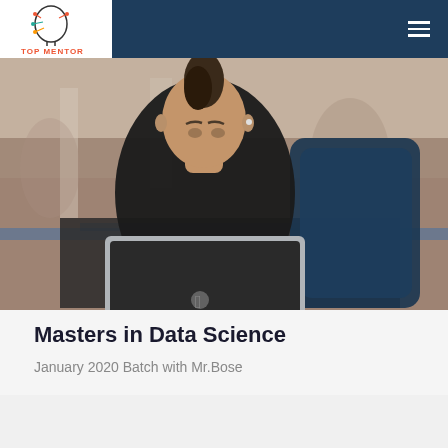Top Mentor
[Figure (photo): Young man with mohawk hairstyle sitting at airport looking down at an Apple MacBook laptop, with a dark blue backpack/guitar case visible, blurred airport background]
Masters in Data Science
January 2020 Batch with Mr.Bose